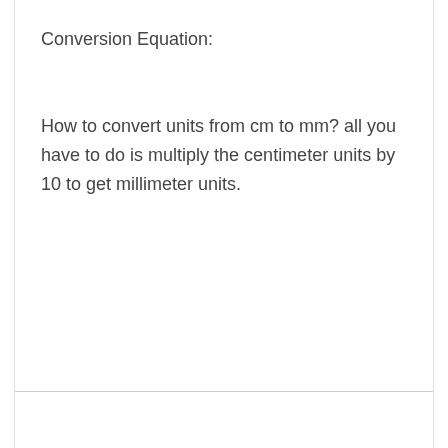Conversion Equation:
How to convert units from cm to mm? all you have to do is multiply the centimeter units by 10 to get millimeter units.